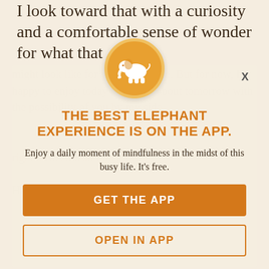I look toward that with a curiosity and a comfortable sense of wonder for what that
[Figure (illustration): Orange circular icon with white elephant silhouette]
THE BEST ELEPHANT EXPERIENCE IS ON THE APP.
Enjoy a daily moment of mindfulness in the midst of this busy life. It's free.
GET THE APP
OPEN IN APP